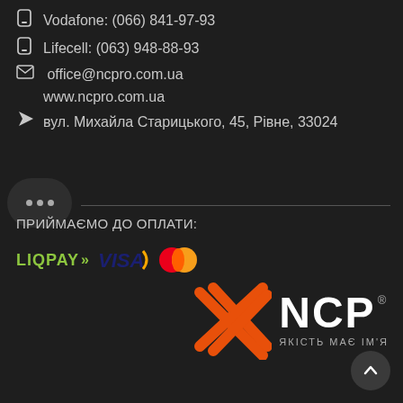Vodafone: (066) 841-97-93
Lifecell: (063) 948-88-93
office@ncpro.com.ua
www.ncpro.com.ua
вул. Михайла Старицького, 45, Рівне, 33024
ПРИЙМАЄМО ДО ОПЛАТИ:
[Figure (logo): Payment logos: LiqPay with double chevron arrows, Visa with yellow swoosh, MasterCard overlapping red and orange circles]
[Figure (logo): NCP company logo: orange zigzag/crosshatch graphic symbol on left, bold white NCP text on right with registered trademark symbol, tagline ЯКІСТЬ МАЄ ІМ'Я below]